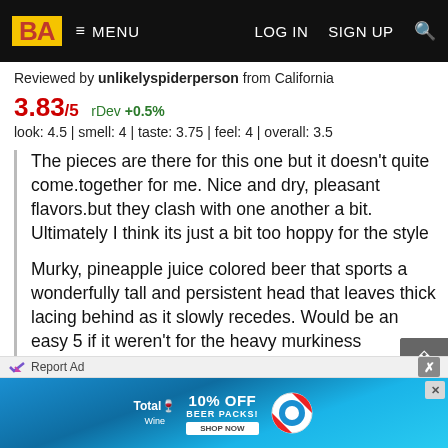BA  ≡ MENU   LOG IN   SIGN UP   🔍
Reviewed by unlikelyspiderperson from California
3.83/5  rDev +0.5%
look: 4.5 | smell: 4 | taste: 3.75 | feel: 4 | overall: 3.5
The pieces are there for this one but it doesn't quite come.together for me. Nice and dry, pleasant flavors.but they clash with one another a bit. Ultimately I think its just a bit too hoppy for the style

Murky, pineapple juice colored beer that sports a wonderfully tall and persistent head that leaves thick lacing behind as it slowly recedes. Would be an easy 5 if it weren't for the heavy murkiness
Slightly tangy.and fruity floral nose. Very pleasant
Taste is lightly tart and tangy, pine and fir forest air as well as something like the smell of a cold hay loft. but a
[Figure (screenshot): Total Wine 10% OFF BEER PACKS advertisement banner with pool background]